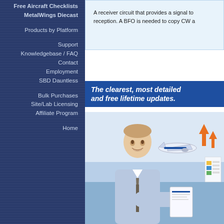Free Aircraft Checklists
MetalWings Diecast
Products by Platform
Support
Knowledgebase / FAQ
Contact
Employment
SBD Dauntless
Bulk Purchases
Site/Lab Licensing
Affiliate Program
Home
A receiver circuit that provides a signal to reception. A BFO is needed to copy CW a
The clearest, most detailed and free lifetime updates.
[Figure (photo): A young man in a blue shirt and tie smiling, holding a document, with an illustration of an airplane and charts in the background]